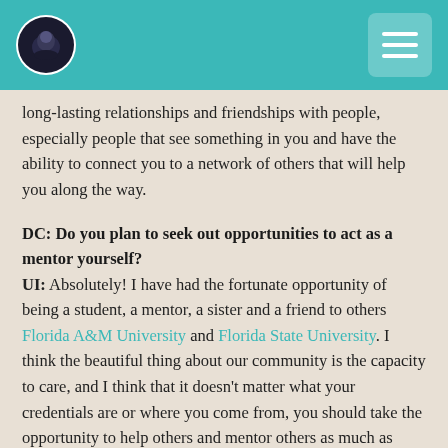[Logo] [Hamburger menu]
long-lasting relationships and friendships with people, especially people that see something in you and have the ability to connect you to a network of others that will help you along the way.
DC: Do you plan to seek out opportunities to act as a mentor yourself?
UI: Absolutely! I have had the fortunate opportunity of being a student, a mentor, a sister and a friend to others Florida A&M University and Florida State University. I think the beautiful thing about our community is the capacity to care, and I think that it doesn't matter what your credentials are or where you come from, you should take the opportunity to help others and mentor others as much as